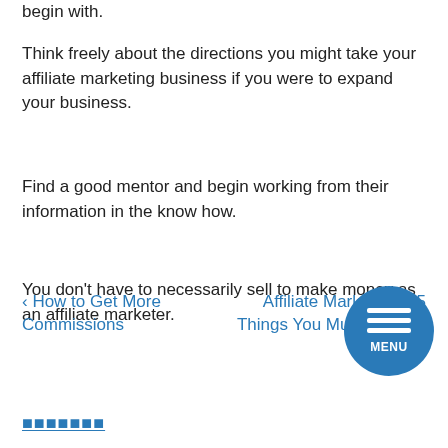begin with.
Think freely about the directions you might take your affiliate marketing business if you were to expand your business.
Find a good mentor and begin working from their information in the know how.
You don’t have to necessarily sell to make money as an affiliate marketer.
❮ How to Get More Commissions | Affiliate Marketing – 5 Things You Must Have to S… ❯
■■■■■■■